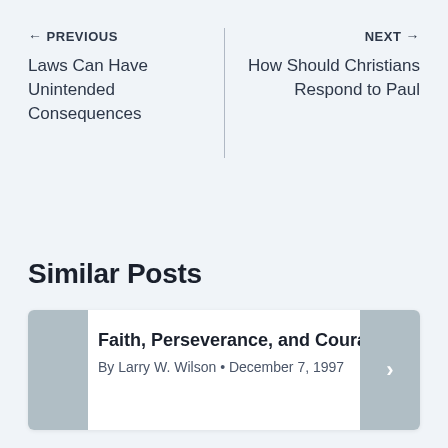← PREVIOUS | NEXT →
Laws Can Have Unintended Consequences
How Should Christians Respond to Paul
Similar Posts
Faith, Perseverance, and Courage
By Larry W. Wilson • December 7, 1997